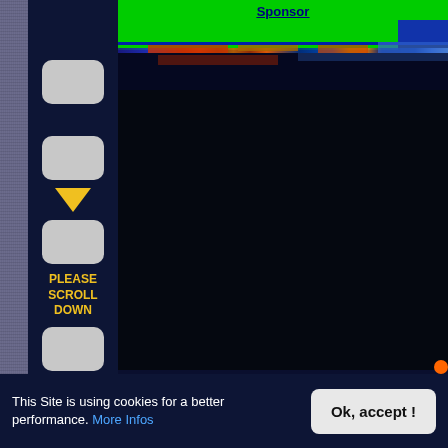Sponsor
[Figure (screenshot): Glitchy banner with green bar and colorful distorted image strips below]
[Figure (screenshot): Navigation sidebar with rounded rectangle buttons, a yellow downward-pointing triangle arrow, and yellow bold text reading PLEASE SCROLL DOWN]
Wall Street 01 - Time
[Figure (screenshot): Dark financial chart panel with grid lines]
This Site is using cookies for a better performance. More Infos
Ok, accept !